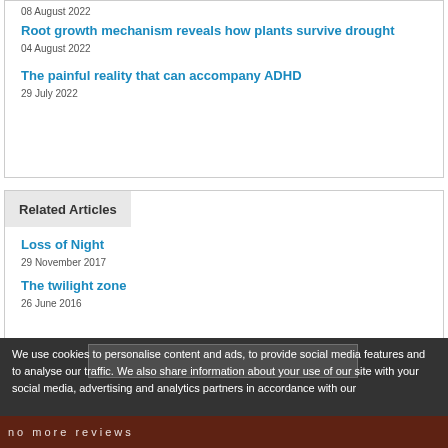08 August 2022
Root growth mechanism reveals how plants survive drought
04 August 2022
The painful reality that can accompany ADHD
29 July 2022
Related Articles
Loss of Night
29 November 2017
The twilight zone
26 June 2016
We use cookies to personalise content and ads, to provide social media features and to analyse our traffic. We also share information about your use of our site with your social media, advertising and analytics partners in accordance with our